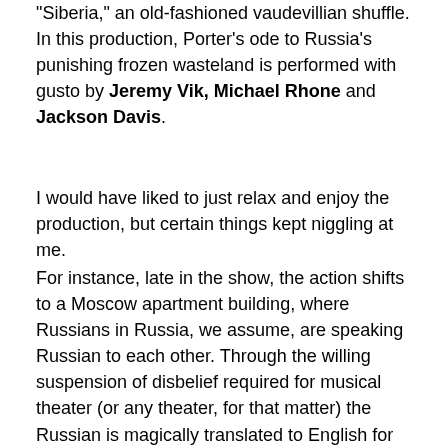“Siberia,” an old-fashioned vaudevillian shuffle. In this production, Porter’s ode to Russia’s punishing frozen wasteland is performed with gusto by Jeremy Vik, Michael Rhone and Jackson Davis.
I would have liked to just relax and enjoy the production, but certain things kept niggling at me.
For instance, late in the show, the action shifts to a Moscow apartment building, where Russians in Russia, we assume, are speaking Russian to each other. Through the willing suspension of disbelief required for musical theater (or any theater, for that matter) the Russian is magically translated to English for our monolingual ears. That’s why “The Red Blues” bothered me so much. If they’re speaking Russian to each other, chances are good that the Russian equivalent of feeling sad and bummed out is not the same word as the color blue. It’s just a convenient (and rather lazy) attempt on Porter’s part to be clever.
And that’s my basic problem with Silk Stockings. Porter is